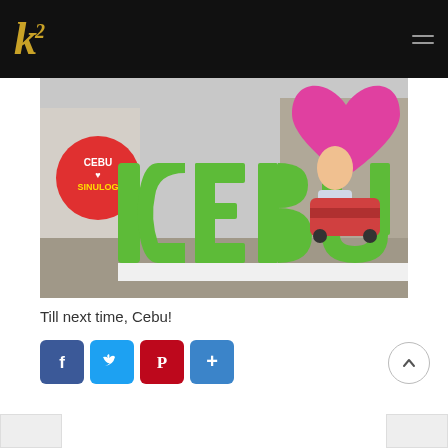k² blog logo with hamburger menu
[Figure (photo): Photo of a woman posing behind a large green 3D 'I ♥ CEBU' sign installation, with a pink heart shape visible and a 'Cebu Sinulog' circular sign in the background. Street and cars visible in the background.]
Till next time, Cebu!
[Figure (infographic): Social sharing buttons row: Facebook (blue), Twitter (light blue), Pinterest (red with P logo), and More/Share (blue with plus icon).]